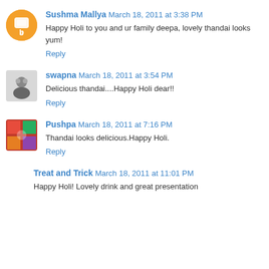Sushma Mallya March 18, 2011 at 3:38 PM
Happy Holi to you and ur family deepa, lovely thandai looks yum!
Reply
swapna March 18, 2011 at 3:54 PM
Delicious thandai....Happy Holi dear!!
Reply
Pushpa March 18, 2011 at 7:16 PM
Thandai looks delicious.Happy Holi.
Reply
Treat and Trick March 18, 2011 at 11:01 PM
Happy Holi! Lovely drink and great presentation